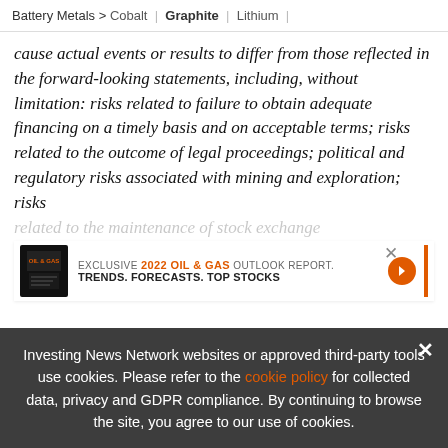Battery Metals > Cobalt | Graphite | Lithium |
cause actual events or results to differ from those reflected in the forward-looking statements, including, without limitation: risks related to failure to obtain adequate financing on a timely basis and on acceptable terms; risks related to the outcome of legal proceedings; political and regulatory risks associated with mining and exploration; risks related to the maintenance of stock exchange listing ... and liability, the potential for delays in exploration
[Figure (infographic): Advertisement banner: EXCLUSIVE 2022 OIL & GAS OUTLOOK REPORT. TRENDS. FORECASTS. TOP STOCKS. with orange arrow button and orange vertical bar on right.]
Investing News Network websites or approved third-party tools use cookies. Please refer to the cookie policy for collected data, privacy and GDPR compliance. By continuing to browse the site, you agree to our use of cookies.